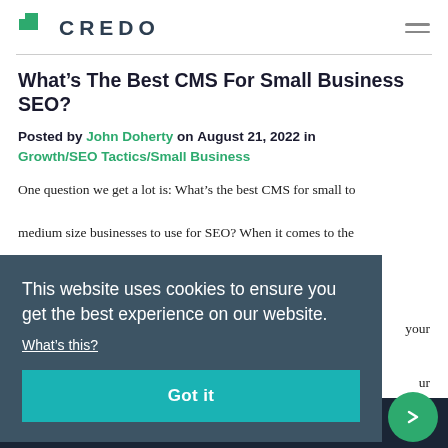CREDO
What’s The Best CMS For Small Business SEO?
Posted by John Doherty on August 21, 2022 in Growth/SEO Tactics/Small Business
One question we get a lot is: What’s the best CMS for small to medium size businesses to use for SEO? When it comes to the [your] [ur]
This website uses cookies to ensure you get the best experience on our website. What’s this?
Got it